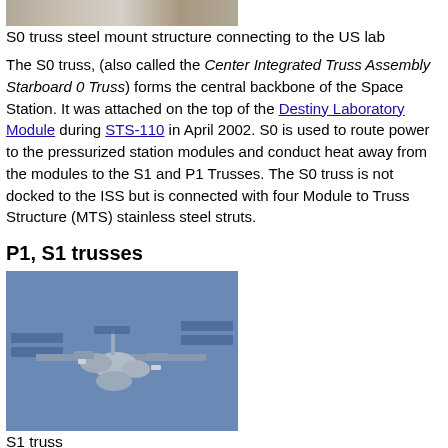[Figure (photo): Top portion of S0 truss steel mount structure photo, cropped]
S0 truss steel mount structure connecting to the US lab
The S0 truss, (also called the Center Integrated Truss Assembly Starboard 0 Truss) forms the central backbone of the Space Station. It was attached on the top of the Destiny Laboratory Module during STS-110 in April 2002. S0 is used to route power to the pressurized station modules and conduct heat away from the modules to the S1 and P1 Trusses. The S0 truss is not docked to the ISS but is connected with four Module to Truss Structure (MTS) stainless steel struts.
P1, S1 trusses
[Figure (illustration): 3D illustration of the ISS S1 truss configuration showing solar panels and station modules against a blue background]
S1 truss
[Figure (photo): Bottom image strip, partially visible, blue background]